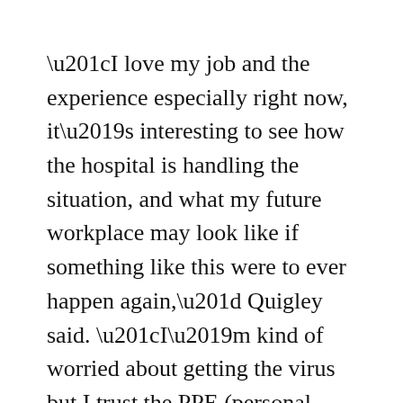“I love my job and the experience especially right now, it’s interesting to see how the hospital is handling the situation, and what my future workplace may look like if something like this were to ever happen again,” Quigley said. “I’m kind of worried about getting the virus but I trust the PPE (personal protective equipment). I have a lung condition so I can’t work with COVID patients, and they’re taking extra precautions in making sure everyone is safe.”
Quigley said campus looks vacant as people